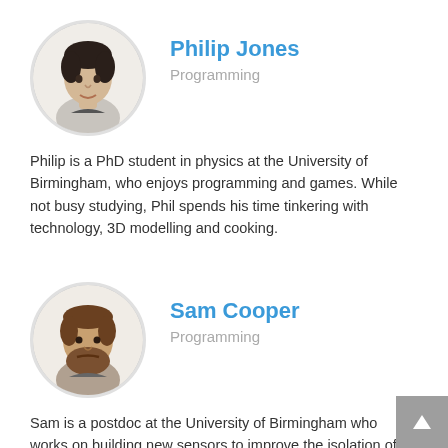[Figure (photo): Circular portrait photo of Philip Jones, a young man with dark hair]
Philip Jones
Programming
Philip is a PhD student in physics at the University of Birmingham, who enjoys programming and games. While not busy studying, Phil spends his time tinkering with technology, 3D modelling and cooking.
[Figure (photo): Circular portrait photo of Sam Cooper, a man with a beard]
Sam Cooper
Programming
Sam is a postdoc at the University of Birmingham who works on building new sensors to improve the isolation of gravitational wave detectors from seismic noise. Sam also spends his time writing code, motorsports, building things and cooking.